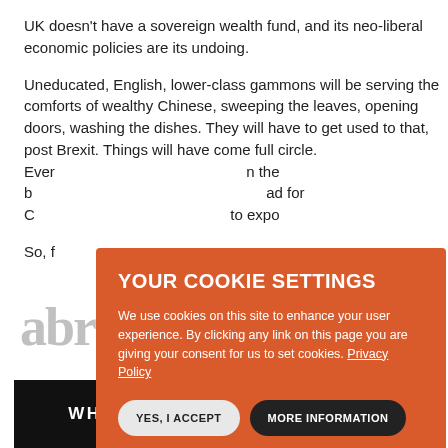UK doesn't have a sovereign wealth fund, and its neo-liberal economic policies are its undoing.
Uneducated, English, lower-class gammons will be serving the comforts of wealthy Chinese, sweeping the leaves, opening doors, washing the dishes. They will have to get used to that, post Brexit. Things will have come full circle. Ever[...]n the b[...]ad for C[...]to expo[...]
So, f[...]
[Figure (screenshot): Cookie consent dialog overlay with orange background reading 'YOUR COOKIE SETTINGS'. Body text: 'We use cookies on this site to enhance your user experience. By clicking any link on this page you are giving your consent for us to set cookies. Privacy Policy'. Two buttons: 'YES, I ACCEPT' and 'MORE INFORMATION'.]
[Figure (logo): Partial decorative script logo in light grey]
[Figure (logo): White & Case law firm logo: white text on black background reading 'WHITE & CASE']